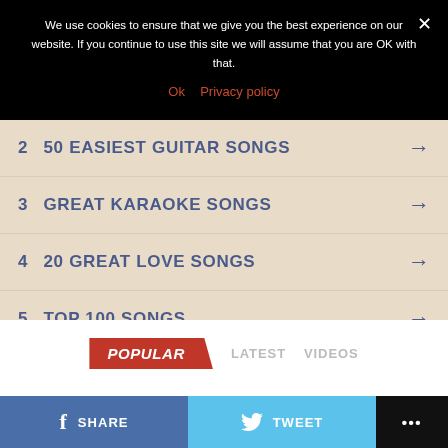We use cookies to ensure that we give you the best experience on our website. If you continue to use this site we will assume that you are OK with that.
Ok  Privacy policy
2  50 EASIEST GUITAR SONGS →
3  GREAT KARAOKE SONGS →
4  20 GREAT LOVE SONGS →
5  TOP 100 SONGS →
POPULAR  LATEST  VIDEOS
SHARE  TWEET  •••